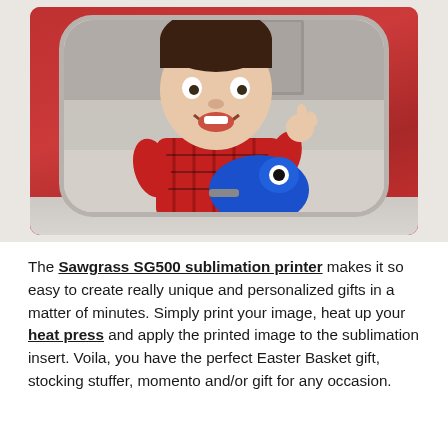[Figure (photo): Photo of a smiling young toddler wearing a red plaid shirt, viewed from above, sitting inside or near a red rounded lunch box/container, holding a blue toy character. The child appears happy and waving.]
The Sawgrass SG500 sublimation printer makes it so easy to create really unique and personalized gifts in a matter of minutes. Simply print your image, heat up your heat press and apply the printed image to the sublimation insert. Voila, you have the perfect Easter Basket gift, stocking stuffer, momento and/or gift for any occasion.